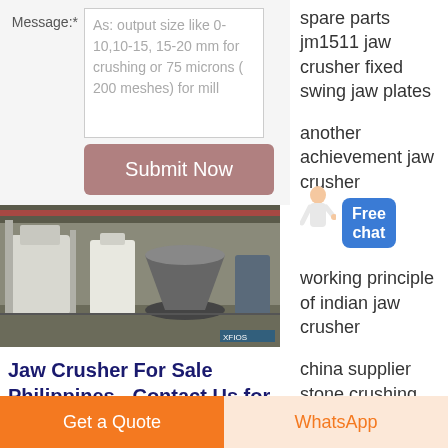Message:*
As: output size like 0-10,10-15, 15-20 mm for crushing or 75 microns ( 200 meshes) for mill
Submit Now
spare parts jm1511 jaw crusher fixed swing jaw plates
another achievement jaw crusher
Free chat
[Figure (photo): Industrial jaw crusher and milling equipment inside a factory warehouse]
Jaw Crusher For Sale Philippines - Contact Us for Price
working principle of indian jaw crusher
china supplier stone crushing machine jaw
Get a Quote
WhatsApp